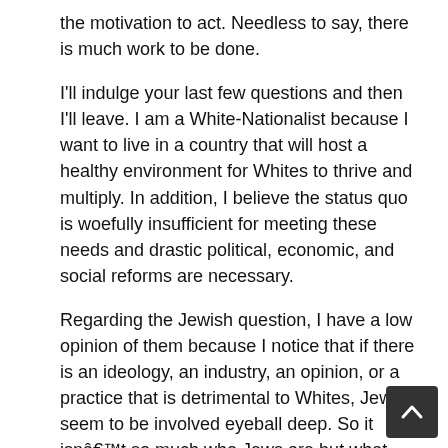the motivation to act. Needless to say, there is much work to be done.
I'll indulge your last few questions and then I'll leave. I am a White-Nationalist because I want to live in a country that will host a healthy environment for Whites to thrive and multiply. In addition, I believe the status quo is woefully insufficient for meeting these needs and drastic political, economic, and social reforms are necessary.
Regarding the Jewish question, I have a low opinion of them because I notice that if there is an ideology, an industry, an opinion, or a practice that is detrimental to Whites, Jews seem to be involved eyeball deep. So it isnât so much who Jews are but what Jews do that I dislike, thus lowering my opinion of them.
I appreciate the offer for the plug on your weekly feature âHate-site of the Weakâ, but Iâm afraid I have no use for the publicity since I do not have a